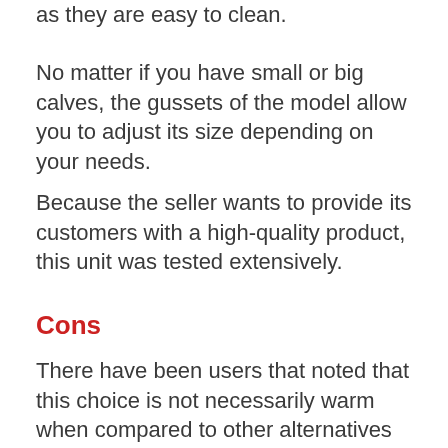as they are easy to clean.
No matter if you have small or big calves, the gussets of the model allow you to adjust its size depending on your needs.
Because the seller wants to provide its customers with a high-quality product, this unit was tested extensively.
Cons
There have been users that noted that this choice is not necessarily warm when compared to other alternatives that are also currently available.
One buyer remarked that the boots that she was shipped were a tad tight in the ankle area. Yet, it